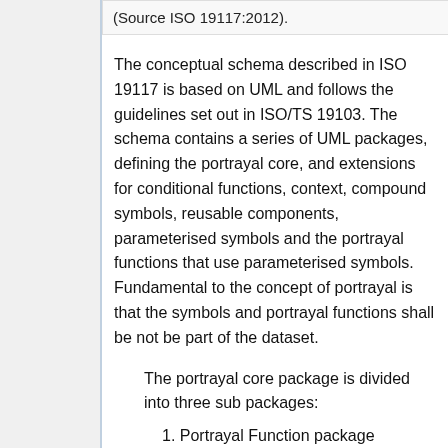(Source ISO 19117:2012).
The conceptual schema described in ISO 19117 is based on UML and follows the guidelines set out in ISO/TS 19103. The schema contains a series of UML packages, defining the portrayal core, and extensions for conditional functions, context, compound symbols, reusable components, parameterised symbols and the portrayal functions that use parameterised symbols. Fundamental to the concept of portrayal is that the symbols and portrayal functions shall be not be part of the dataset.
The portrayal core package is divided into three sub packages:
1. Portrayal Function package
This package is used to define mapping functions. The